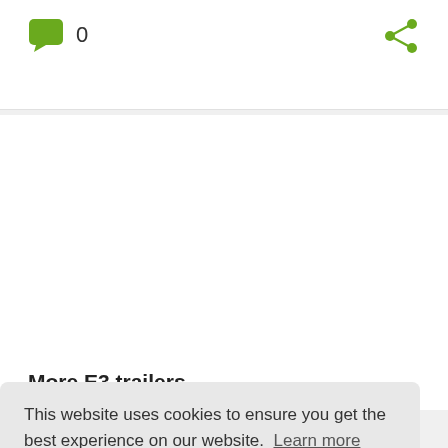[Figure (illustration): Green comment bubble icon with count '0' next to it]
[Figure (illustration): Green share/network icon in top right]
More E3 trailers
This website uses cookies to ensure you get the best experience on our website.  Learn more
Got it!
[Figure (illustration): Green share/network icon on right side]